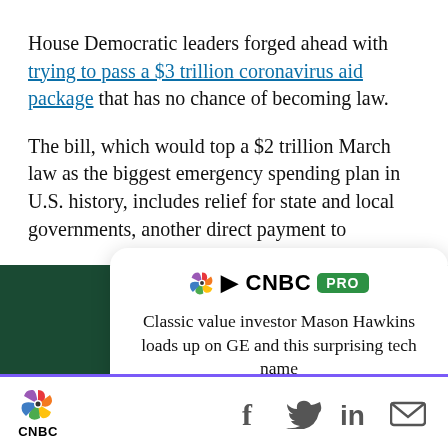House Democratic leaders forged ahead with trying to pass a $3 trillion coronavirus aid package that has no chance of becoming law.
The bill, which would top a $2 trillion March law as the biggest emergency spending plan in U.S. history, includes relief for state and local governments, another direct payment to
[Figure (other): CNBC PRO advertisement overlay card on dark green background. Card shows CNBC PRO logo with peacock icon, headline 'Classic value investor Mason Hawkins loads up on GE and this surprising tech name', and a green 'SUBSCRIBE NOW' button. Dark green background with white close X button in top right.]
CNBC logo and social sharing icons: Facebook, Twitter, LinkedIn, Email